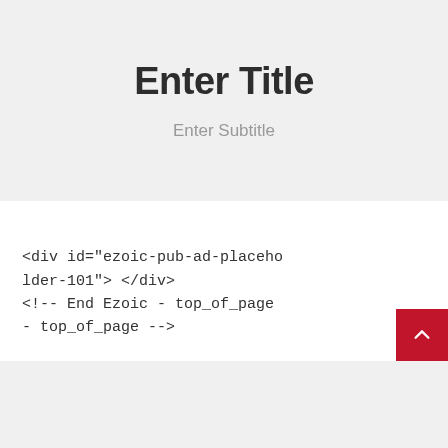Enter Title
Enter Subtitle
<!-- Ezoic - top_of_page - top_of_page -->
<div id="ezoic-pub-ad-placeholder-101"> </div>
<!-- End Ezoic - top_of_page - top_of_page -->